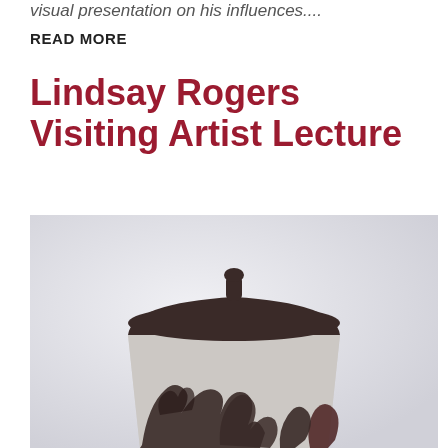visual presentation on his influences....
READ MORE
Lindsay Rogers Visiting Artist Lecture
[Figure (photo): A ceramic vessel with a dark brown domed lid and small knob on top. The body of the vessel is light gray/white with dark brown/black organic leaf-like silhouette shapes painted on it. The vessel has a slightly trapezoidal form, wider at the bottom than the top.]